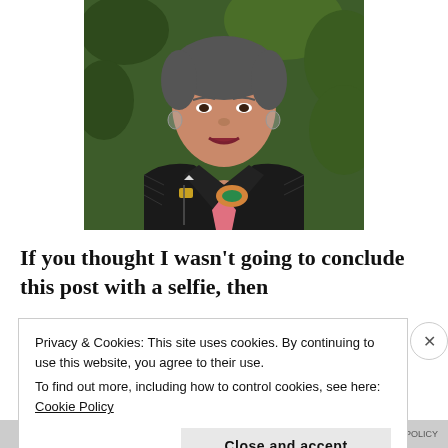[Figure (photo): A person wearing a black leather jacket over a pink shirt, with decorative pins and a large orange/teal brooch, photographed against a green leafy background. The photo shows the person from roughly the shoulders up, with short hair and hoop earrings.]
If you thought I wasn’t going to conclude this post with a selfie, then
Privacy & Cookies: This site uses cookies. By continuing to use this website, you agree to their use.
To find out more, including how to control cookies, see here: Cookie Policy
Close and accept